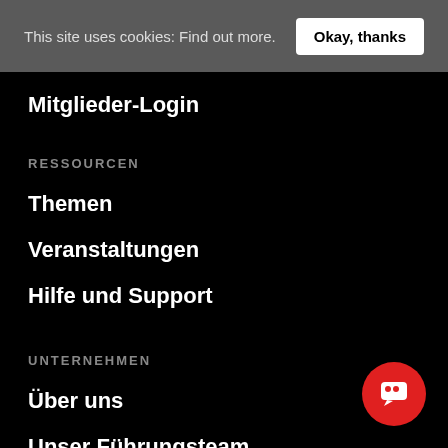This site uses cookies: Find out more.   Okay, thanks
Mitglieder-Login
RESSOURCEN
Themen
Veranstaltungen
Hilfe und Support
UNTERNEHMEN
Über uns
Unser Führungsteam
Willkommen im Team